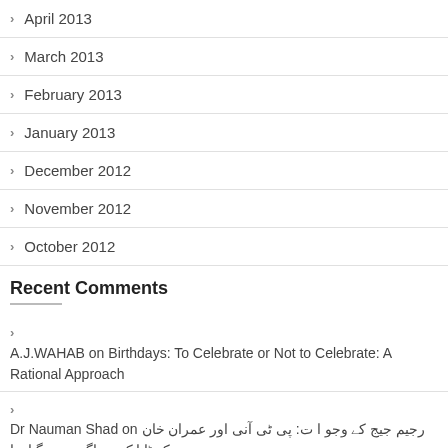April 2013
March 2013
February 2013
January 2013
December 2012
November 2012
October 2012
Recent Comments
A.J.WAHAB on Birthdays: To Celebrate or Not to Celebrate: A Rational Approach
Dr Nauman Shad on رجیم جیج کے وجوات: پی ٹی آنی اور عمران خان کو ٹانا کیوں ناگزیر ہو گیا تھا